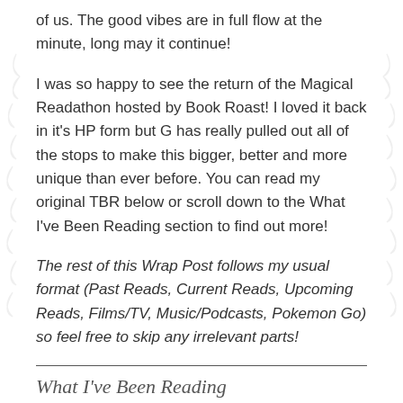of us. The good vibes are in full flow at the minute, long may it continue!
I was so happy to see the return of the Magical Readathon hosted by Book Roast! I loved it back in it's HP form but G has really pulled out all of the stops to make this bigger, better and more unique than ever before. You can read my original TBR below or scroll down to the What I've Been Reading section to find out more!
The rest of this Wrap Post follows my usual format (Past Reads, Current Reads, Upcoming Reads, Films/TV, Music/Podcasts, Pokemon Go) so feel free to skip any irrelevant parts!
What I've Been Reading